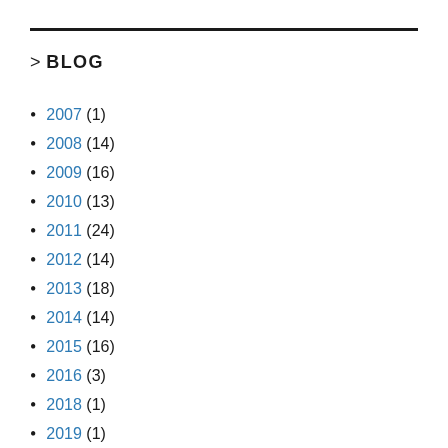> BLOG
2007 (1)
2008 (14)
2009 (16)
2010 (13)
2011 (24)
2012 (14)
2013 (18)
2014 (14)
2015 (16)
2016 (3)
2018 (1)
2019 (1)